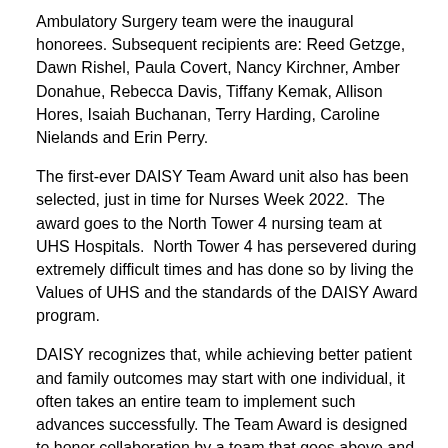Ambulatory Surgery team were the inaugural honorees. Subsequent recipients are: Reed Getzge, Dawn Rishel, Paula Covert, Nancy Kirchner, Amber Donahue, Rebecca Davis, Tiffany Kemak, Allison Hores, Isaiah Buchanan, Terry Harding, Caroline Nielands and Erin Perry.
The first-ever DAISY Team Award unit also has been selected, just in time for Nurses Week 2022.  The award goes to the North Tower 4 nursing team at UHS Hospitals.  North Tower 4 has persevered during extremely difficult times and has done so by living the Values of UHS and the standards of the DAISY Award program.
DAISY recognizes that, while achieving better patient and family outcomes may start with one individual, it often takes an entire team to implement such advances successfully. The Team Award is designed to honor collaboration by a team that goes above and beyond the traditional role of nursing to deliver kind and compassionate care.
To celebrate the DAISY Award recipients, celebrations are held and the honored nurses are presented with the award and a pin, and